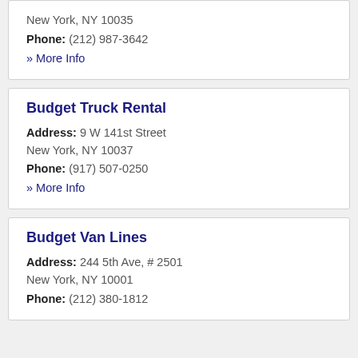New York, NY 10035
Phone: (212) 987-3642
» More Info
Budget Truck Rental
Address: 9 W 141st Street
New York, NY 10037
Phone: (917) 507-0250
» More Info
Budget Van Lines
Address: 244 5th Ave, # 2501
New York, NY 10001
Phone: (212) 380-1812